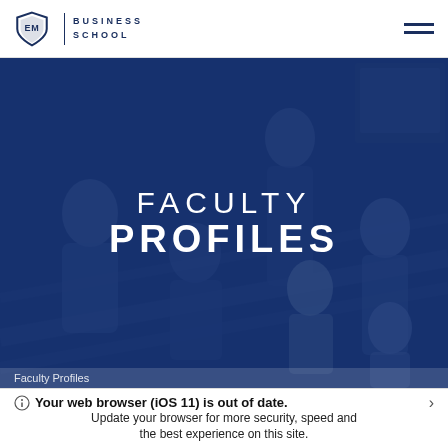[Figure (logo): EMSD Business School logo with shield and text]
[Figure (photo): Group photo of business school faculty/students in a staircase setting with dark blue overlay]
FACULTY
PROFILES
Faculty Profiles
Your web browser (iOS 11) is out of date. Update your browser for more security, speed and the best experience on this site.